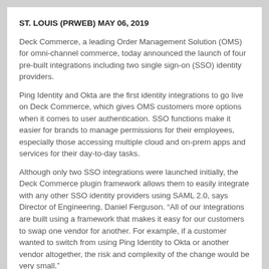ST. LOUIS (PRWEB) MAY 06, 2019
Deck Commerce, a leading Order Management Solution (OMS) for omni-channel commerce, today announced the launch of four pre-built integrations including two single sign-on (SSO) identity providers.
Ping Identity and Okta are the first identity integrations to go live on Deck Commerce, which gives OMS customers more options when it comes to user authentication. SSO functions make it easier for brands to manage permissions for their employees, especially those accessing multiple cloud and on-prem apps and services for their day-to-day tasks.
Although only two SSO integrations were launched initially, the Deck Commerce plugin framework allows them to easily integrate with any other SSO identity providers using SAML 2.0, says Director of Engineering, Daniel Ferguson. “All of our integrations are built using a framework that makes it easy for our customers to swap one vendor for another. For example, if a customer wanted to switch from using Ping Identity to Okta or another vendor altogether, the risk and complexity of the change would be very small.”
Additional integrations that Deck Commerce launched recently